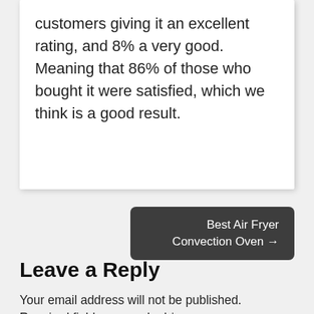customers giving it an excellent rating, and 8% a very good. Meaning that 86% of those who bought it were satisfied, which we think is a good result.
Best Air Fryer Convection Oven →
Leave a Reply
Your email address will not be published. Required fields are marked *